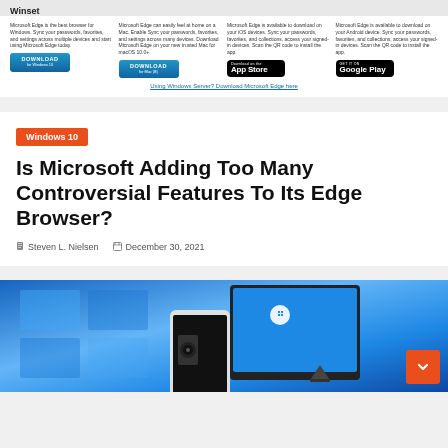Winset
Microsoft Edge is the best browser for Windows. Sync your passwords, favorites, and settings across multiple devices and start using Microsoft Edge today.
Microsoft Edge can easily feel at home on a Mac. Enable Sync your passwords, favorites, and settings across many devices. Download Microsoft Edge on your new trusted Mac for macOS 10.0+.
Microsoft Edge is available to download on your iOS devices. Sync your passwords, favorites, and collections, access your signed-in devices. Scan the QR code to install the app.
Microsoft Edge is available to download on your Android device. Sync your passwords, favorites, and collections, access your signed-in devices. Scan the QR code to install the app.
Using Windows Server? Download Microsoft Edge here
Windows 10
Is Microsoft Adding Too Many Controversial Features To Its Edge Browser?
Steven L. Nielsen   December 30, 2021
[Figure (screenshot): Microsoft Surface tablet and smartphone devices shown against a blue Windows background]